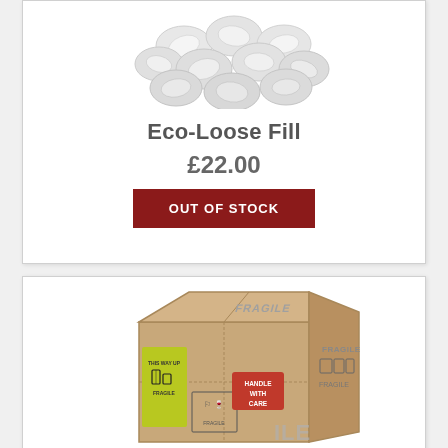[Figure (photo): White foam packing peanuts / eco-loose fill packaging material, shown from above on white background]
Eco-Loose Fill
£22.00
OUT OF STOCK
[Figure (photo): Cardboard box with FRAGILE and HANDLE WITH CARE labels, shipping/packaging box]